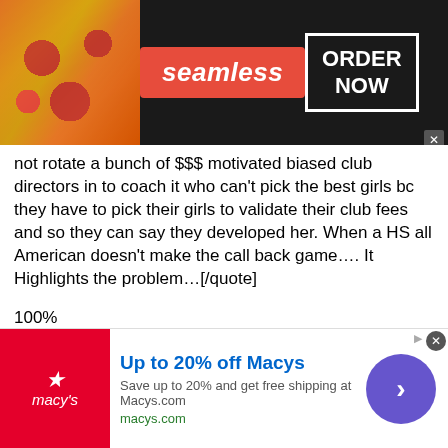[Figure (screenshot): Seamless food delivery advertisement banner with pizza image, Seamless logo in red, and ORDER NOW button]
not rotate a bunch of $$$ motivated biased club directors in to coach it who can't pick the best girls bc they have to pick their girls to validate their club fees and so they can say they developed her. When a HS all American doesn't make the call back game.... It Highlights the problem...[/quote]
100%
if long island wants to WIN the event then why not pick the BEST players. how can a legit duke commit who was an AA this year not make callback after being on the team the past 3 years???
but still the talent on UA is much better than AS[/quote]
Talent is absolutely not better on UA, look at the rosters, many of the better girls went to AS. The Duke commit was hot and cold this season, didn't play well and did not deserve to advance. You want
[Figure (screenshot): Macy's advertisement banner: Up to 20% off Macys, Save up to 20% and get free shipping at Macys.com, macys.com]